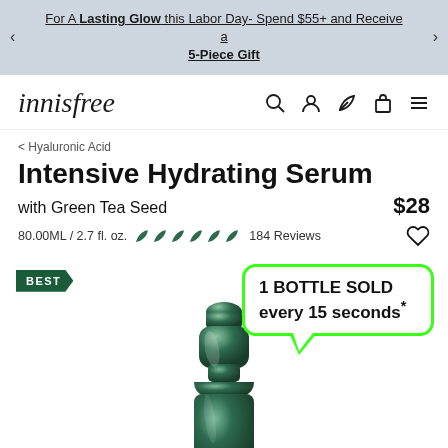For A Lasting Glow this Labor Day- Spend $55+ and Receive a 5-Piece Gift
[Figure (logo): innisfree brand logo in italic serif font]
< Hyaluronic Acid
Intensive Hydrating Serum
with Green Tea Seed  $28
80.00ML / 2.7 fl. oz.  184 Reviews
[Figure (photo): Green innisfree serum bottle with BEST badge and callout bubble reading '1 BOTTLE SOLD every 15 seconds*']